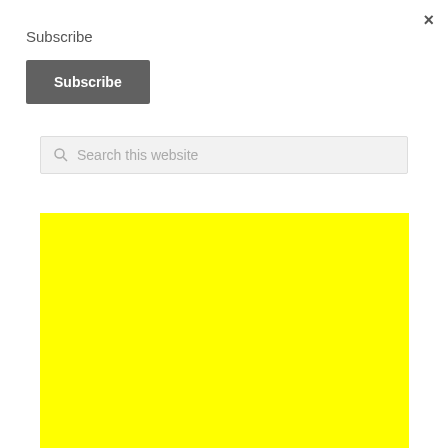×
Subscribe
Subscribe
Search this website
[Figure (other): Solid yellow rectangle block]